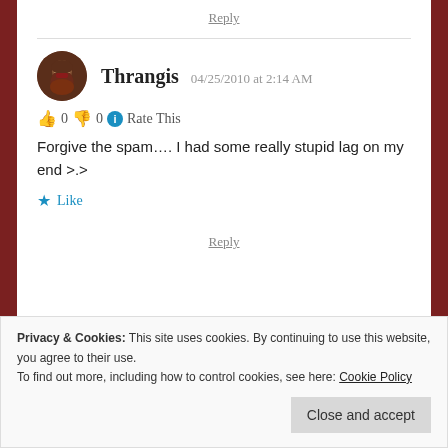Reply
Thrangis 04/25/2010 at 2:14 AM
👍 0 👎 0 ℹ Rate This
Forgive the spam…. I had some really stupid lag on my end >.>
★ Like
Reply
Privacy & Cookies: This site uses cookies. By continuing to use this website, you agree to their use.
To find out more, including how to control cookies, see here: Cookie Policy
Close and accept